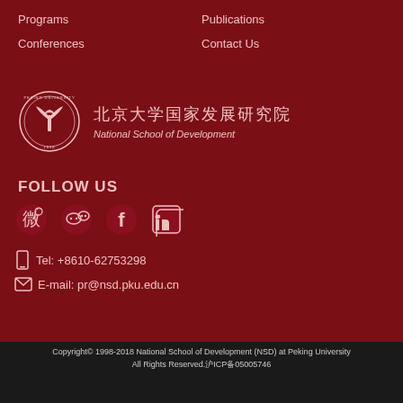Programs
Publications
Conferences
Contact Us
[Figure (logo): Peking University National School of Development logo with circular seal and Chinese and English text]
FOLLOW US
[Figure (infographic): Social media icons: Weibo, WeChat, Facebook, LinkedIn]
Tel: +8610-62753298
E-mail: pr@nsd.pku.edu.cn
Copyright© 1998-2018 National School of Development (NSD) at Peking University
All Rights Reserved.沪ICP备05005746